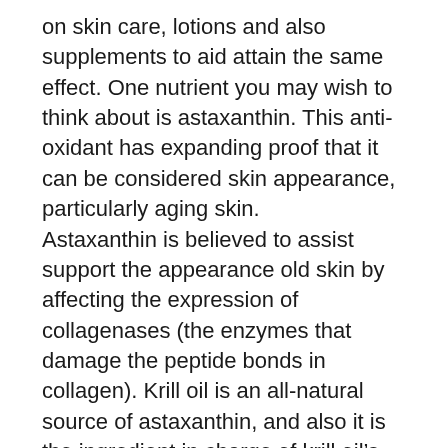on skin care, lotions and also supplements to aid attain the same effect. One nutrient you may wish to think about is astaxanthin. This anti-oxidant has expanding proof that it can be considered skin appearance, particularly aging skin. Astaxanthin is believed to assist support the appearance old skin by affecting the expression of collagenases (the enzymes that damage the peptide bonds in collagen). Krill oil is an all-natural source of astaxanthin, and also it is the ingredient in charge of krill oil’s bright red ‘pop’.
Brain.
A greater intake of omega-3 fats EPA as well as DHA have actually shown a possible in...